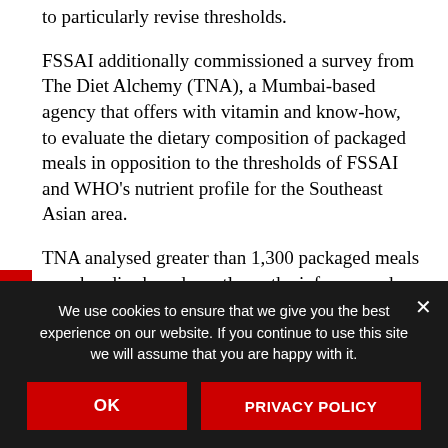to particularly revise thresholds.
FSSAI additionally commissioned a survey from The Diet Alchemy (TNA), a Mumbai-based agency that offers with vitamin and know-how, to evaluate the dietary composition of packaged meals in opposition to the thresholds of FSSAI and WHO's nutrient profile for the Southeast Asian area.
TNA analysed greater than 1,300 packaged meals merchandise based mostly on the info sourced from the business. Its report
E Weight Loss Tips Here!
We use cookies to ensure that we give you the best experience on our website. If you continue to use this site we will assume that you are happy with it.
OK
PRIVACY POLICY